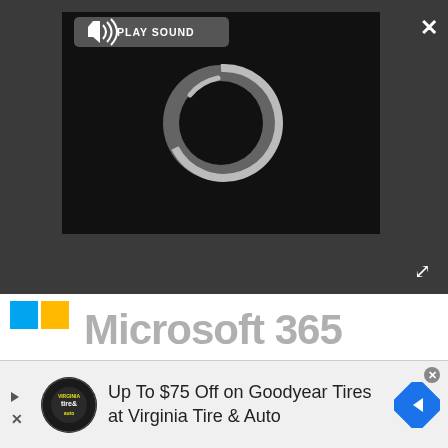[Figure (screenshot): Video player overlay on dark gray background with a black video area showing a loading spinner, a 'PLAY SOUND' button with speaker icon, a white X close button in top-right, and an expand arrows icon below it.]
[Figure (logo): Microsoft 365 logo with blue and yellow Windows squares icon and large gray 'Microsoft 365' text]
One of the least exciting Microsoft 365 apps might soon be worth your attention
Microsoft is doubling down on a component of its productivity software suite that earns little fanfare.
[Figure (screenshot): Advertisement bar: Up To $75 Off on Goodyear Tires at Virginia Tire & Auto, with Virginia Tire & Auto logo on left and blue diamond arrow icon on right]